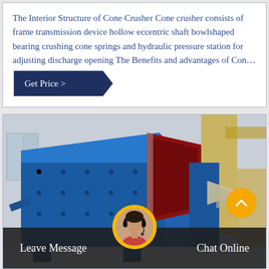The Interior Structure of Cone Crusher Cone crusher consists of frame transmission device hollow eccentric shaft bowlshaped bearing crushing cone springs and hydraulic pressure station for adjusting discharge opening The Benefits and advantages of Con…
Get Price >
[Figure (photo): Large blue industrial impact crusher machine on a factory floor, with red interior visible and additional yellow/cream colored machinery in the background.]
Leave Message
Chat Online